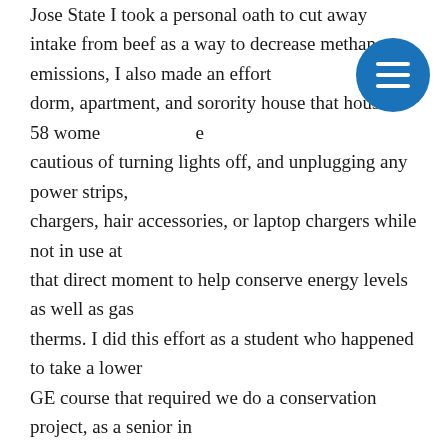Jose State I took a personal oath to cut away intake from beef as a way to decrease methane emissions, I also made an effort dorm, apartment, and sorority house that housed 58 wome cautious of turning lights off, and unplugging any power strips, chargers, hair accessories, or laptop chargers while not in use at that direct moment to help conserve energy levels as well as gas therms. I did this effort as a student who happened to take a lower GE course that required we do a conservation project, as a senior in my final year I decided to take that upper GE course to see how far we have come along, and sadly that answer isn't anywhere where I hoped it'd be. I want my children and future family members to live in a world where they can merely dwell and live. I dream of a world where no single human being could be over consumed by the illusion and naive concept that global warming doesn't exist. I dream of a world where every CITIZEN and INDIVIDUAL no longer waits for another person to make changes. I dream of a world where we as a whole can come together and agree to make everyday changes